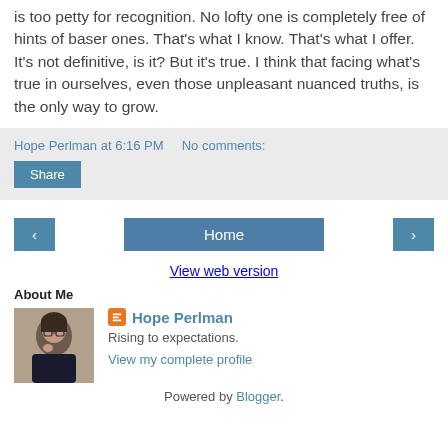is too petty for recognition. No lofty one is completely free of hints of baser ones. That's what I know. That's what I offer. It's not definitive, is it? But it's true. I think that facing what's true in ourselves, even those unpleasant nuanced truths, is the only way to grow.
Hope Perlman at 6:16 PM   No comments:
Share
‹
Home
›
View web version
About Me
[Figure (photo): Profile photo of Hope Perlman, a woman with dark hair and glasses]
Hope Perlman
Rising to expectations.
View my complete profile
Powered by Blogger.